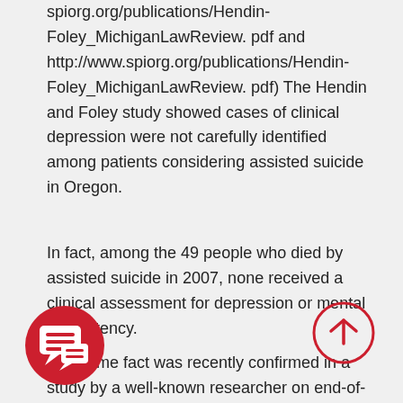spiorg.org/publications/Hendin-Foley_MichiganLawReview. pdf and http://www.spiorg.org/publications/Hendin-Foley_MichiganLawReview. pdf) The Hendin and Foley study showed cases of clinical depression were not carefully identified among patients considering assisted suicide in Oregon.
In fact, among the 49 people who died by assisted suicide in 2007, none received a clinical assessment for depression or mental competency.
The same fact was recently confirmed in a study by a well-known researcher on end-of-life issues, and 15 of the 58 people in her study who had requested assisted suicide, were clinically depressed and